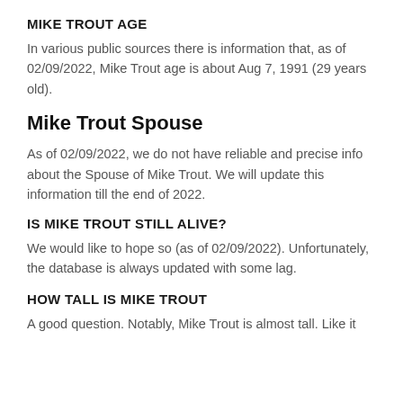MIKE TROUT AGE
In various public sources there is information that, as of 02/09/2022, Mike Trout age is about Aug 7, 1991 (29 years old).
Mike Trout Spouse
As of 02/09/2022, we do not have reliable and precise info about the Spouse of Mike Trout. We will update this information till the end of 2022.
IS MIKE TROUT STILL ALIVE?
We would like to hope so (as of 02/09/2022). Unfortunately, the database is always updated with some lag.
HOW TALL IS MIKE TROUT
A good question. Notably, Mike Trout is almost tall. Like it